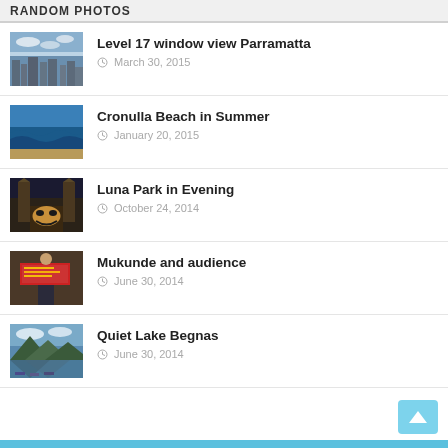RANDOM PHOTOS
Level 17 window view Parramatta — March 30, 2015
Cronulla Beach in Summer — January 20, 2015
Luna Park in Evening — October 24, 2014
Mukunde and audience — June 30, 2014
Quiet Lake Begnas — June 30, 2014